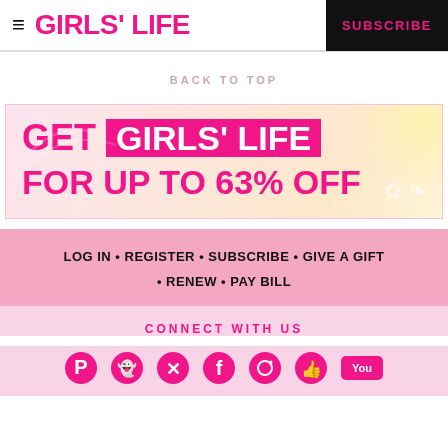GIRLS' LIFE | SUBSCRIBE
BACK TO TOP
[Figure (infographic): Advertisement banner: GET GIRLS' LIFE FOR UP TO 63% OFF on pink gradient background]
LOG IN • REGISTER • SUBSCRIBE • GIVE A GIFT • RENEW • PAY BILL
CONNECT WITH US
[Figure (illustration): Social media icons row: Pinterest, Snapchat, Twitter, Facebook, Instagram, Thumbs up, YouTube]